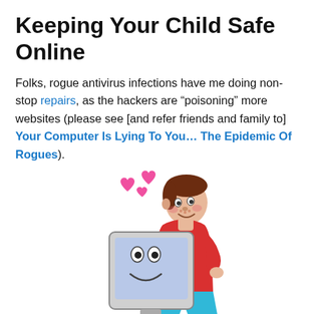Keeping Your Child Safe Online
Folks, rogue antivirus infections have me doing non-stop repairs, as the hackers are “poisoning” more websites (please see [and refer friends and family to] Your Computer Is Lying To You… The Epidemic Of Rogues).
[Figure (illustration): Cartoon of a chubby boy with brown hair wearing a red shirt and blue pants, hugging a computer monitor that has a smiley face on screen. Pink hearts float above. A tower computer unit is below the monitor.]